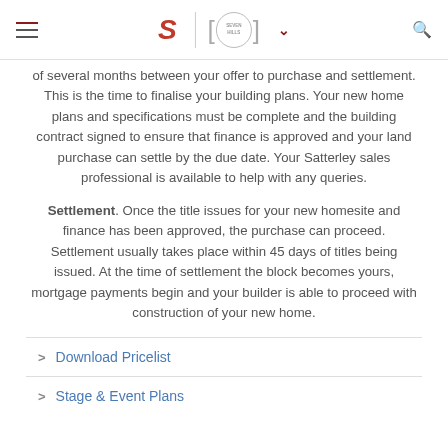Navigation bar with hamburger menu, Satterley logo, Seven Hills badge logo, chevron, and search icon
of several months between your offer to purchase and settlement. This is the time to finalise your building plans. Your new home plans and specifications must be complete and the building contract signed to ensure that finance is approved and your land purchase can settle by the due date. Your Satterley sales professional is available to help with any queries.
Settlement. Once the title issues for your new homesite and finance has been approved, the purchase can proceed. Settlement usually takes place within 45 days of titles being issued. At the time of settlement the block becomes yours, mortgage payments begin and your builder is able to proceed with construction of your new home.
> Download Pricelist
> Stage & Event Plans